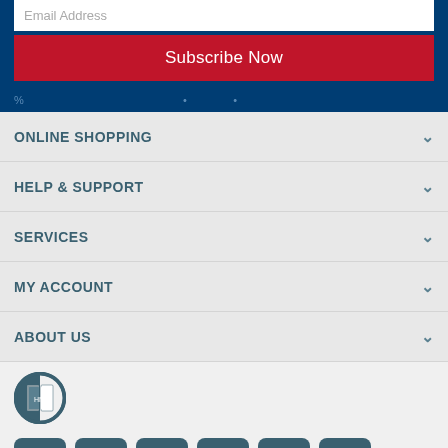Email Address
Subscribe Now
ONLINE SHOPPING
HELP & SUPPORT
SERVICES
MY ACCOUNT
ABOUT US
[Figure (logo): Harvey Norman logo circle]
[Figure (infographic): Social media icons: Facebook, Twitter, Instagram, YouTube, LinkedIn, Pinterest]
© 2007-2022 Harvey Norman Stores (NZ) Pty Limited, Private Bag 94035 Manukau, Auckland 2241